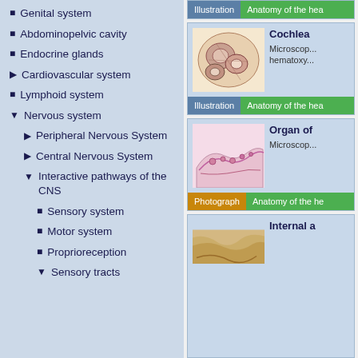Genital system
Abdominopelvic cavity
Endocrine glands
Cardiovascular system
Lymphoid system
Nervous system
Peripheral Nervous System
Central Nervous System
Interactive pathways of the CNS
Sensory system
Motor system
Proprioreception
Sensory tracts
[Figure (photo): Partial card top: Illustration / Anatomy of the hea...]
[Figure (photo): Cochlea microscopic image, hematoxylin stain]
Cochlea
Microscop... hematoxy...
Illustration | Anatomy of the hea...
[Figure (photo): Organ of Corti microscopic image]
Organ of...
Microscop...
Photograph | Anatomy of the he...
[Figure (photo): Internal a... partial card at bottom]